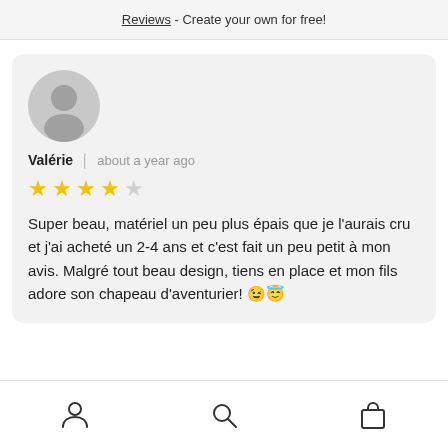Reviews - Create your own for free!
[Figure (illustration): User review card with avatar, reviewer name Valérie, timestamp 'about a year ago', 4-star rating, and review text in French with emojis]
Valérie  about a year ago
Super beau, matériel un peu plus épais que je l'aurais cru et j'ai acheté un 2-4 ans et c'est fait un peu petit à mon avis. Malgré tout beau design, tiens en place et mon fils adore son chapeau d'aventurier! 😉😇
Navigation icons: person, search, bag